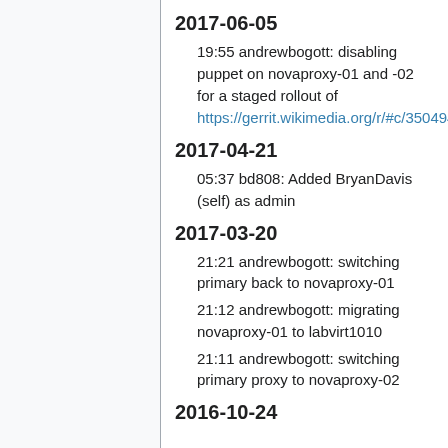2017-06-05
19:55 andrewbogott: disabling puppet on novaproxy-01 and -02 for a staged rollout of https://gerrit.wikimedia.org/r/#c/350494/16
2017-04-21
05:37 bd808: Added BryanDavis (self) as admin
2017-03-20
21:21 andrewbogott: switching primary back to novaproxy-01
21:12 andrewbogott: migrating novaproxy-01 to labvirt1010
21:11 andrewbogott: switching primary proxy to novaproxy-02
2016-10-24